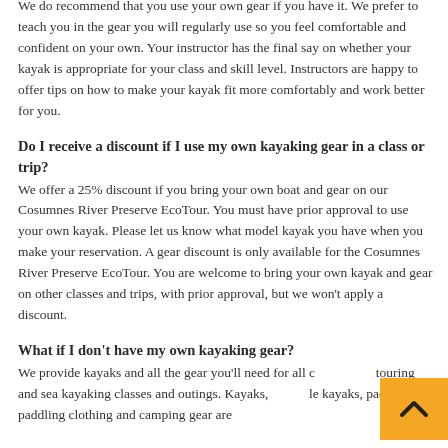We do recommend that you use your own gear if you have it. We prefer to teach you in the gear you will regularly use so you feel comfortable and confident on your own. Your instructor has the final say on whether your kayak is appropriate for your class and skill level. Instructors are happy to offer tips on how to make your kayak fit more comfortably and work better for you.
Do I receive a discount if I use my own kayaking gear in a class or trip?
We offer a 25% discount if you bring your own boat and gear on our Cosumnes River Preserve EcoTour. You must have prior approval to use your own kayak. Please let us know what model kayak you have when you make your reservation. A gear discount is only available for the Cosumnes River Preserve EcoTour. You are welcome to bring your own kayak and gear on other classes and trips, with prior approval, but we won't apply a discount.
What if I don't have my own kayaking gear?
We provide kayaks and all the gear you'll need for all our touring and sea kayaking classes and outings. Kayaks, sit-inside kayaks, paddles, paddling clothing and camping gear are